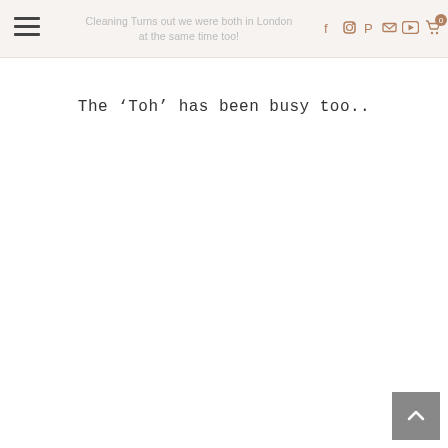Cleaning Turns out we were both in London at the same time too!
The ‘Toh’ has been busy too..